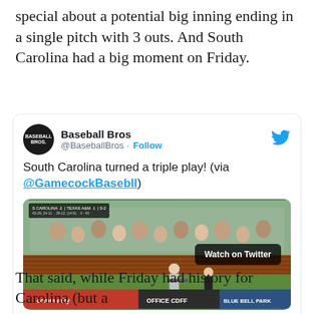special about a potential big inning ending in a single pitch with 3 outs. And South Carolina had a big moment on Friday.
[Figure (screenshot): Embedded tweet from @BaseballBros showing a video of South Carolina turning a triple play. The tweet reads 'South Carolina turned a triple play! (via @GamecockBasebll)' with a video thumbnail showing a baseball game scoreboard (S Carolina 2, Texas A&M 1) and a 'Watch on Twitter' badge. Blue Bell Park visible at bottom.]
That said, while Friday had history for Carolina (but a